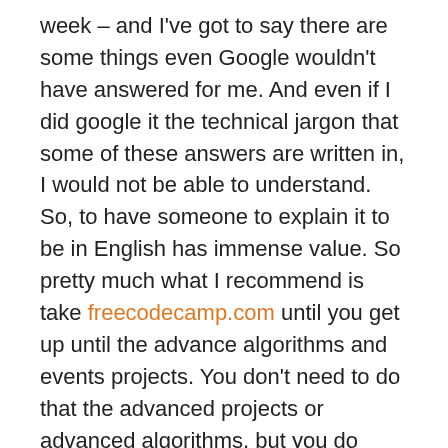week – and I've got to say there are some things even Google wouldn't have answered for me. And even if I did google it the technical jargon that some of these answers are written in, I would not be able to understand. So, to have someone to explain it to be in English has immense value. So pretty much what I recommend is take freecodecamp.com until you get up until the advance algorithms and events projects. You don't need to do that the advanced projects or advanced algorithms, but you do need to do the intermediate projects and the intermediate algorithm problems then you're ready for boot camp. If you want to take it a step further, that's the time to take it to boot camp. Boot camp, I highly recommend not to go in cold because you're doing the boot camp to learn the advanced. The basic stuff is basic you can teach it yourself. It's like trying